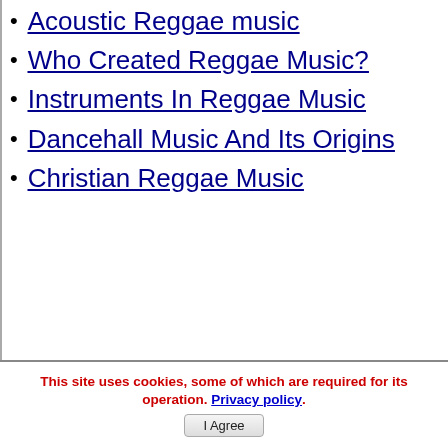Acoustic Reggae music
Who Created Reggae Music?
Instruments In Reggae Music
Dancehall Music And Its Origins
Christian Reggae Music
This site uses cookies, some of which are required for its operation. Privacy policy. I Agree